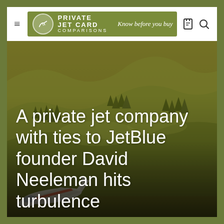Private Jet Card Comparisons — Know before you buy
[Figure (photo): Aerial view of green rolling hills and forests with a private jet visible in the lower portion of the image, tinted with a warm olive-green color overlay]
A private jet company with ties to JetBlue founder David Neeleman hits turbulence